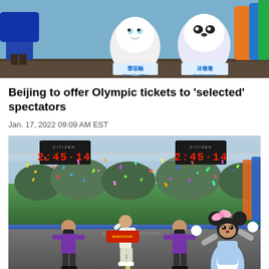[Figure (photo): Beijing Winter Olympics mascots Shuey Rhon Rhon and Bing Dwen Dwen displayed at a venue, with colorful decorations in the background]
Beijing to offer Olympic tickets to 'selected' spectators
Jan. 17, 2022 09:09 AM EST
[Figure (photo): A runner crossing a marathon finish line with confetti falling, Citizen timer clocks showing 2:45:14, two volunteers holding a banner, and a Minnie Mouse mascot character on the right]